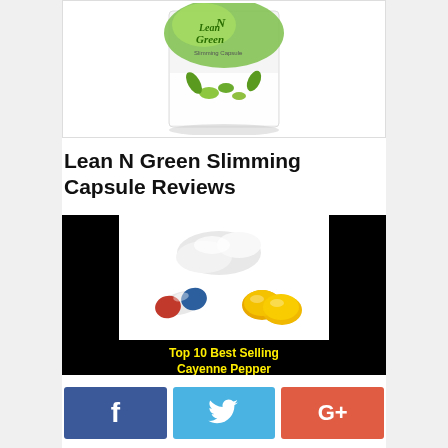[Figure (photo): Product box of Lean N Green Slimming Capsule with green and white packaging]
Lean N Green Slimming Capsule Reviews
[Figure (photo): Video thumbnail showing white capsules, a red-blue capsule, and yellow tablets with text 'Top 10 Best Selling Cayenne Pepper' in yellow on black background]
[Figure (other): Social media share buttons: Facebook (blue), Twitter (light blue), Google+ (red)]